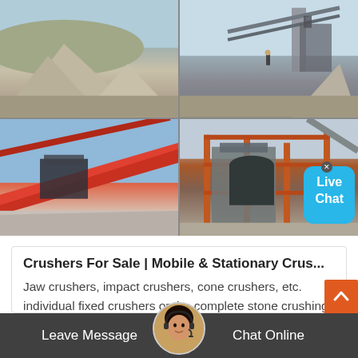[Figure (photo): Four-panel photo grid showing stone crushing and quarry equipment: top-left quarry aggregate pile, top-right conveyor machinery with worker, bottom-left red conveyor belt system, bottom-right industrial crushing plant structure with orange framework.]
Crushers For Sale | Mobile & Stationary Crus...
Jaw crushers, impact crushers, cone crushers, etc. individual fixed crushers or the complete stone crushing production lines are all available... Mobile crushing plant, mining equipment, vibrating feeders, sand washing and washing machine, conveyor belt, and other machines
Leave Message   Chat Online